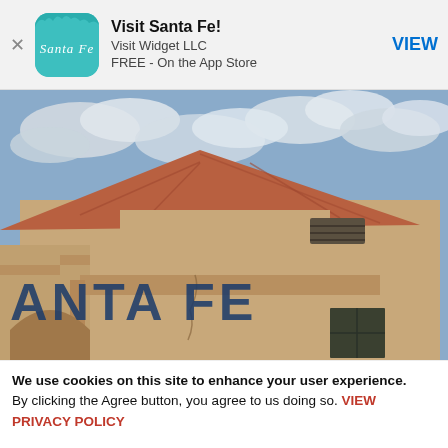[Figure (screenshot): App Store smart banner showing 'Visit Santa Fe!' app by Visit Widget LLC, FREE on the App Store, with a teal app icon and a VIEW button on the right.]
[Figure (photo): Photo of a Santa Fe adobe-style building with a terracotta tile roof, stucco walls, and 'SANTA FE' lettering on the facade, under a partly cloudy sky.]
We use cookies on this site to enhance your user experience. By clicking the Agree button, you agree to us doing so. VIEW PRIVACY POLICY